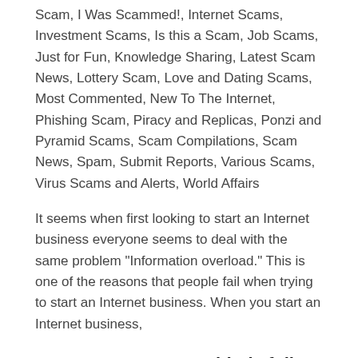Scam, I Was Scammed!, Internet Scams, Investment Scams, Is this a Scam, Job Scams, Just for Fun, Knowledge Sharing, Latest Scam News, Lottery Scam, Love and Dating Scams, Most Commented, New To The Internet, Phishing Scam, Piracy and Replicas, Ponzi and Pyramid Scams, Scam Compilations, Scam News, Spam, Submit Reports, Various Scams, Virus Scams and Alerts, World Affairs
It seems when first looking to start an Internet business everyone seems to deal with the same problem "Information overload." This is one of the reasons that people fail when trying to start an Internet business. When you start an Internet business,
How to protect your elderly folks from Scams
by Anti-Scammer | Anti-Scam Articles, Black Money Scam, Blog Posts, Business and Commercial Scams,